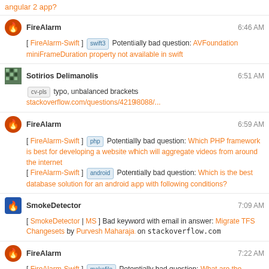angular 2 app?
FireAlarm 6:46 AM [ FireAlarm-Swift ] swift3 Potentially bad question: AVFoundation miniFrameDuration property not available in swift
Sotirios Delimanolis 6:51 AM cv-pls typo, unbalanced brackets stackoverflow.com/questions/42198088/...
FireAlarm 6:59 AM [ FireAlarm-Swift ] php Potentially bad question: Which PHP framework is best for developing a website which will aggregate videos from around the internet [ FireAlarm-Swift ] android Potentially bad question: Which is the best database solution for an android app with following conditions?
SmokeDetector 7:09 AM [ SmokeDetector | MS ] Bad keyword with email in answer: Migrate TFS Changesets by Purvesh Maharaja on stackoverflow.com
FireAlarm 7:22 AM [ FireAlarm-Swift ] makefile Potentially bad question: What are the Advantage/Disadvantage of using gradle build for c/c+ over makefile?
cricket_007 7:27 AM cv-pls java Typo or Cannot Reproduce AccountTest Bank Program? - Brandon Roxas - 2017-02-13 07:13:39Z
Tushar 7:38 AM cv-pls javascript Request for Off-Site Resource Is there any JavaScript library which connection to change HTML - Anjus - 2017-02-13 07:28:16Z